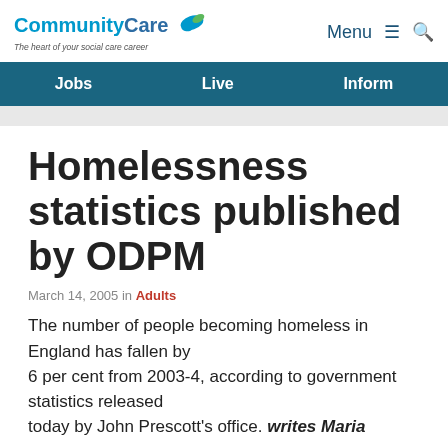CommunityCare — The heart of your social care career | Menu | Search
Jobs   Live   Inform
Homelessness statistics published by ODPM
March 14, 2005 in Adults
The number of people becoming homeless in England has fallen by 6 per cent from 2003-4, according to government statistics released today by John Prescott's office. writes Maria